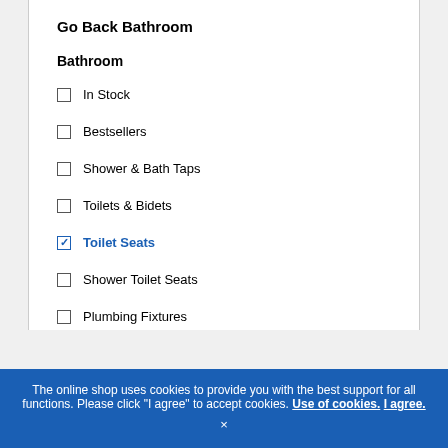Go Back Bathroom
Bathroom
In Stock
Bestsellers
Shower & Bath Taps
Toilets & Bidets
Toilet Seats (checked)
Shower Toilet Seats
Plumbing Fixtures
The online shop uses cookies to provide you with the best support for all functions. Please click "I agree" to accept cookies. Use of cookies. I agree. ×